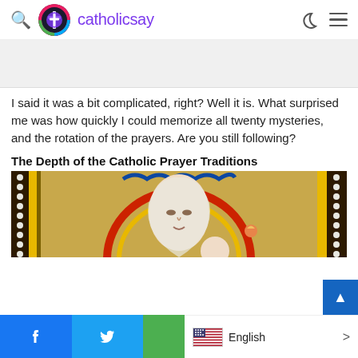catholicsay
I said it was a bit complicated, right? Well it is. What surprised me was how quickly I could memorize all twenty mysteries, and the rotation of the prayers. Are you still following?
The Depth of the Catholic Prayer Traditions
[Figure (photo): Stained glass window depicting the Virgin Mary with halo holding the Christ child, gold background with red and blue decorative elements]
Facebook share | Twitter share | English language selector